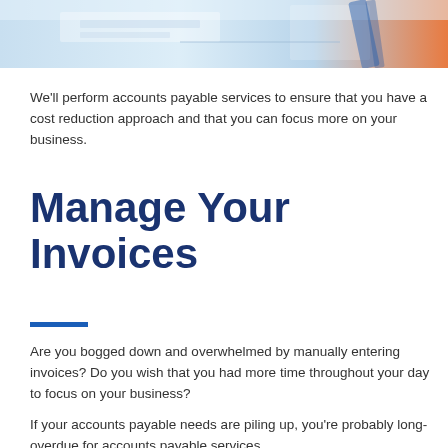[Figure (photo): A photo banner at the top of the page showing office/accounting supplies such as a calculator and documents with a light blue and white color palette]
We'll perform accounts payable services to ensure that you have a cost reduction approach and that you can focus more on your business.
Manage Your Invoices
Are you bogged down and overwhelmed by manually entering invoices? Do you wish that you had more time throughout your day to focus on your business?
If your accounts payable needs are piling up, you're probably long-overdue for accounts payable services.